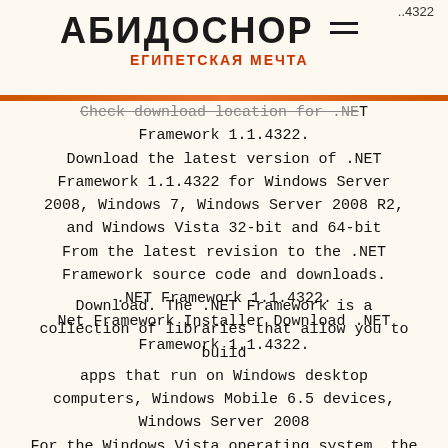АБИДОСНОР ЕГИПЕТСКАЯ МЕЧТА ..4322
Check download location for .NET Framework 1.1.4322. Download the latest version of .NET Framework 1.1.4322 for Windows Server 2008, Windows 7, Windows Server 2008 R2, and Windows Vista 32-bit and 64-bit From the latest revision to the .NET Framework source code and downloads. .NET Framework 1.1.4322. Net Framework Installer Download .NET Framework 1.1.4322.
Download. The .NET Framework is a collection of libraries that allow you to build apps that run on Windows desktop computers, Windows Mobile 6.5 devices, Windows Server 2008 For the Windows Vista operating system, the version of .NET Framework 1.1.4322 shown